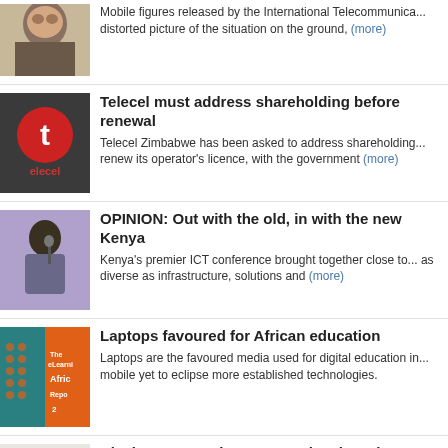[Figure (photo): Thumbnail photo of a person (partial, top of head and shoulders)]
Mobile figures released by the International Telecommunica... distorted picture of the situation on the ground, (more)
[Figure (logo): Telecel logo - red circle with white letter t on dark background, with 'elecel' text below]
Telecel must address shareholding before renewal
Telecel Zimbabwe has been asked to address shareholding... renew its operator's licence, with the government (more)
[Figure (photo): Photo of a man speaking at a microphone, purple background]
OPINION: Out with the old, in with the new Kenya
Kenya's premier ICT conference brought together close to... as diverse as infrastructure, solutions and (more)
[Figure (illustration): eLearning Africa Report book cover - orange and teal with dots pattern]
Laptops favoured for African education
Laptops are the favoured media used for digital education in... mobile yet to eclipse more established technologies.
[Figure (photo): Photo of BlackBerry smartphone device]
BlackBerry remains SA's coolest brand
Young South Africans have voted BlackBerry the "Coolest B...